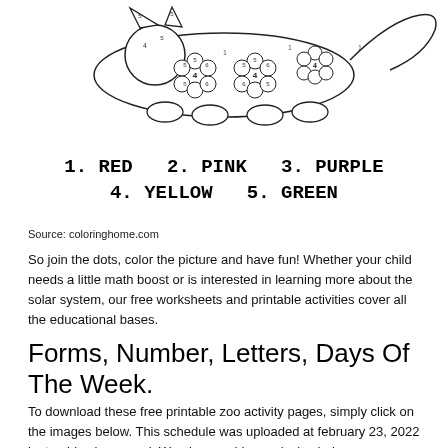[Figure (illustration): A color-by-number illustration of a cat or animal with numbered sections. Numbers 1-6 label different parts of the drawing. A vertical watermark reads 'Coloring-Page' on the left side.]
1. RED  2. PINK  3. PURPLE
4. YELLOW  5. GREEN
Source: coloringhome.com
So join the dots, color the picture and have fun! Whether your child needs a little math boost or is interested in learning more about the solar system, our free worksheets and printable activities cover all the educational bases.
Forms, Number, Letters, Days Of The Week.
To download these free printable zoo activity pages, simply click on the images below. This schedule was uploaded at february 23, 2022 by tamblox in general. We also provide magical coloring pages (your child must choose the colors